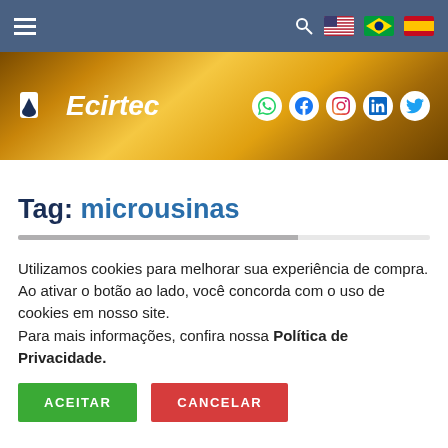Navigation bar with hamburger menu, search icon, and language flags (US, Brazil, Spain)
[Figure (logo): Ecirtec logo on gold banner with social media icons (WhatsApp, Facebook, Instagram, LinkedIn, Twitter)]
Tag: microusinas
Utilizamos cookies para melhorar sua experiência de compra. Ao ativar o botão ao lado, você concorda com o uso de cookies em nosso site. Para mais informações, confira nossa Política de Privacidade.
ACEITAR | CANCELAR